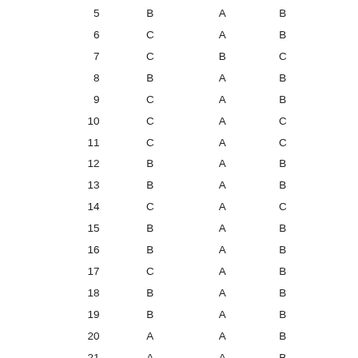| 5 | B | A | B |
| 6 | C | A | B |
| 7 | C | B | C |
| 8 | B | A | B |
| 9 | C | A | B |
| 10 | C | A | C |
| 11 | C | A | C |
| 12 | B | A | B |
| 13 | B | A | B |
| 14 | C | A | C |
| 15 | B | A | B |
| 16 | B | A | B |
| 17 | C | A | B |
| 18 | B | A | B |
| 19 | B | A | B |
| 20 | A | A | B |
| 21 | A | A | B |
| 22 | Not tested | Not tested | A |
| 23 | A | A | B |
| 24 | C | A | C |
| 25 | B | A | B |